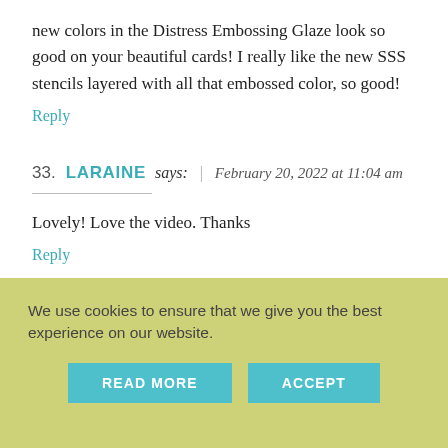new colors in the Distress Embossing Glaze look so good on your beautiful cards! I really like the new SSS stencils layered with all that embossed color, so good!
Reply
33. LARAINE says: | February 20, 2022 at 11:04 am
Lovely! Love the video. Thanks
Reply
We use cookies to ensure that we give you the best experience on our website.
READ MORE
ACCEPT